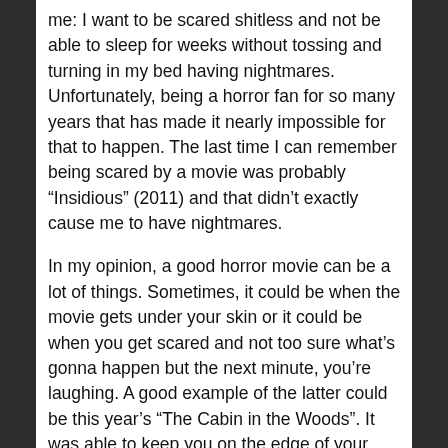me: I want to be scared shitless and not be able to sleep for weeks without tossing and turning in my bed having nightmares. Unfortunately, being a horror fan for so many years that has made it nearly impossible for that to happen. The last time I can remember being scared by a movie was probably “Insidious” (2011) and that didn’t exactly cause me to have nightmares.
In my opinion, a good horror movie can be a lot of things. Sometimes, it could be when the movie gets under your skin or it could be when you get scared and not too sure what’s gonna happen but the next minute, you’re laughing. A good example of the latter could be this year’s “The Cabin in the Woods”. It was able to keep you on the edge of your seat with unpredictability but at the same time make you laugh because of all the jabs at the horror